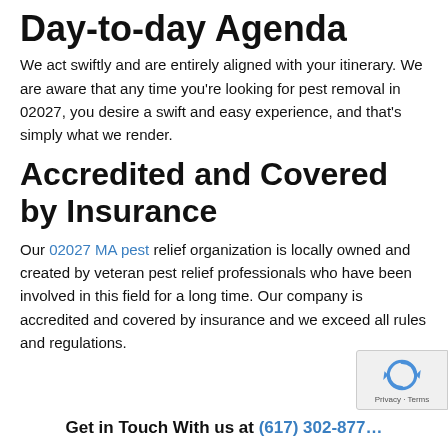Day-to-day Agenda
We act swiftly and are entirely aligned with your itinerary. We are aware that any time you're looking for pest removal in 02027, you desire a swift and easy experience, and that's simply what we render.
Accredited and Covered by Insurance
Our 02027 MA pest relief organization is locally owned and created by veteran pest relief professionals who have been involved in this field for a long time. Our company is accredited and covered by insurance and we exceed all rules and regulations.
Get in Touch With us at (617) 302-877…